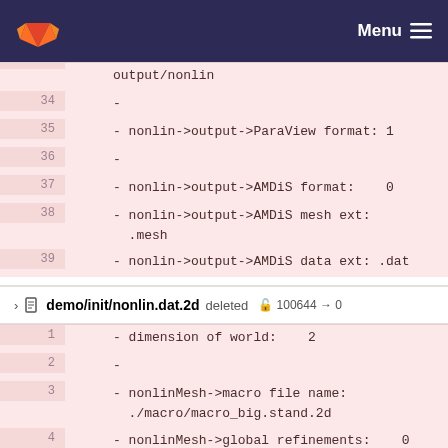GitLab · Menu
[Figure (screenshot): Code diff showing deleted lines 34-39 of nonlin output configuration file]
demo/init/nonlin.dat.2d deleted 100644 → 0
[Figure (screenshot): Code diff showing deleted lines 1-8 of demo/init/nonlin.dat.2d]